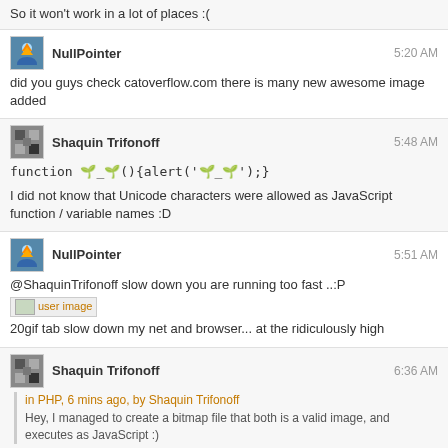So it won't work in a lot of places :(
NullPointer — 5:20 AM — did you guys check catoverflow.com there is many new awesome image added
Shaquin Trifonoff — 5:48 AM — function 🐱_🐱(){alert('🐱_🐱');} — I did not know that Unicode characters were allowed as JavaScript function / variable names :D
NullPointer — 5:51 AM — @ShaquinTrifonoff slow down you are running too fast ..:P — [user image] — 20gif tab slow down my net and browser... at the ridiculously high
Shaquin Trifonoff — 6:36 AM — in PHP, 6 mins ago, by Shaquin Trifonoff — Hey, I managed to create a bitmap file that both is a valid image, and executes as JavaScript :)
Shyam K — 7:01 AM — Q: How can I make an animated avatar for gravatar.com? — I was inspired by this animated avatar from free-avatars.com: Is it possible to use an animated GIF as an avatar on gravatar.com? I couldn't get it to work, but maybe someone else knows a hack.